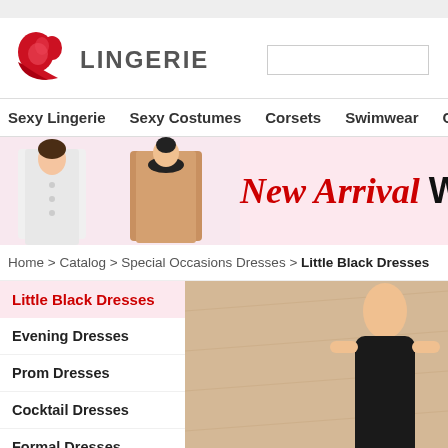[Figure (logo): 5Lingerie website logo with red stylized figure and text LINGERIE]
[Figure (other): Search input box]
Sexy Lingerie   Sexy Costumes   Corsets   Swimwear   Clubwear   K
[Figure (photo): Banner image showing two women in winter coats with text New Arrival WOME]
Home > Catalog > Special Occasions Dresses > Little Black Dresses
Little Black Dresses
Evening Dresses
Prom Dresses
Cocktail Dresses
Formal Dresses
Little Black Dresses
[Figure (photo): Product image showing a person in a dress on a beige/tan background]